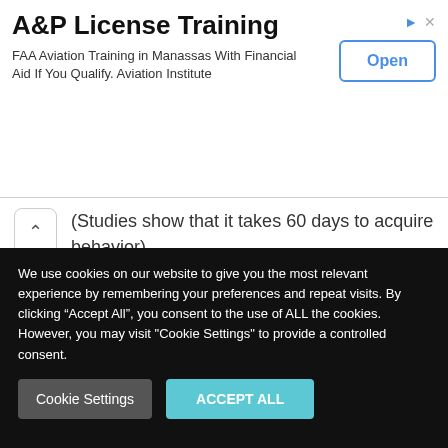[Figure (other): Advertisement banner for A&P License Training. Title: 'A&P License Training'. Subtitle: 'FAA Aviation Training in Manassas With Financial Aid If You Qualify. Aviation Institute'. Blue 'Open' button on the right.]
(Studies show that it takes 60 days to acquire behavior)
Offer incentives to reward these behaviors and encourage performance.
Clearly explain the goals to be achieved, to change behaviors participants must understand exactly what is expected of them
We use cookies on our website to give you the most relevant experience by remembering your preferences and repeat visits. By clicking "Accept All", you consent to the use of ALL the cookies. However, you may visit "Cookie Settings" to provide a controlled consent.